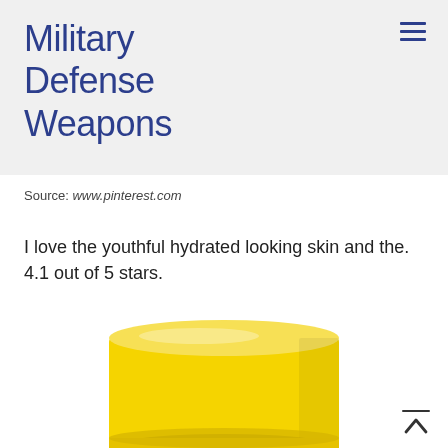Military Defense Weapons
Source: www.pinterest.com
I love the youthful hydrated looking skin and the. 4.1 out of 5 stars.
[Figure (photo): Yellow cylindrical product container (top cap visible), shown from a slightly elevated angle against a white background.]